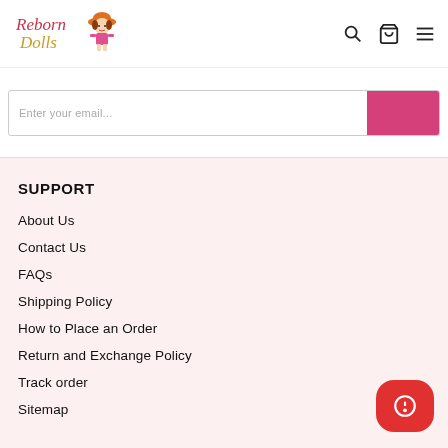[Figure (logo): Reborn Dolls logo with cursive/serif text and cartoon girl doll icon]
Enter your email...
SUPPORT
About Us
Contact Us
FAQs
Shipping Policy
How to Place an Order
Return and Exchange Policy
Track order
Sitemap